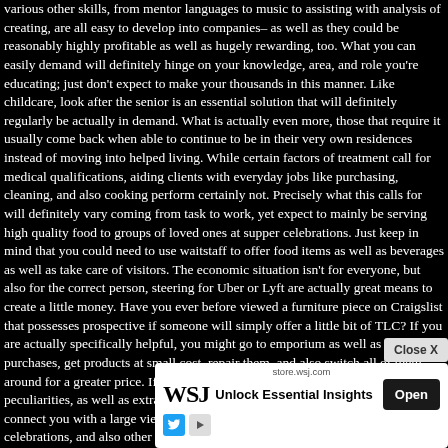various other skills, from mentor languages to music to assisting with analysis of creating, are all easy to develop into companies– as well as they could be reasonably highly profitable as well as hugely rewarding, too. What you can easily demand will definitely hinge on your knowledge, area, and role you're educating; just don't expect to make your thousands in this manner. Like childcare, look after the senior is an essential solution that will definitely regularly be actually in demand. What is actually even more, those that require it usually come back when able to continue to be in their very own residences instead of moving into helped living. While certain factors of treatment call for medical qualifications, aiding clients with everyday jobs like purchasing, cleaning, and also cooking perform certainly not. Precisely what this calls for will definitely vary coming from task to work, yet expect to mainly be serving high quality food to groups of loved ones at supper celebrations. Just keep in mind that you could need to use waitstaff to offer food items as well as beverages as well as take care of visitors. The economic situation isn't for everyone, but also for the correct person, steering for Uber or Lyft are actually great means to create a little money. Have you ever before viewed a furniture piece on Craigslist that possesses prospective if someone will simply offer a little bit of TLC? If you are actually specifically helpful, you might go to emporium as well as garage purchases, get products at small cost, repair them, and also switch all of them around for a greater price. If you have a great eye, you can search for valuable peculiarities, as well as extra. Public auction internet sites like eBay can easily connect you with a large viewers seeking your things. Proms, wedding celebrations, and also other unique events urge individuals to appear their finest. You may end up being an individual stylist and also have people concern your property center, or you may make house phone calls or even job on-location. Only like in-home childcare, pet dog sitting is a sector that you can easily take advantage of to bring in money of folks desire assurance knowing that an individual sympathizes their fur infant, guaranteeing their well and risk-free. You might additionally give extra solutions, like pet dog assistance plans possible of your area cost-free king it easy
[Figure (other): Close X button overlay on the page content]
[Figure (other): WSJ advertisement banner — store.wsj.com, Unlock Essential Insights, Open button, with Twitter and play icons]